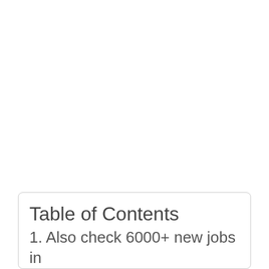Table of Contents
1. Also check 6000+ new jobs in